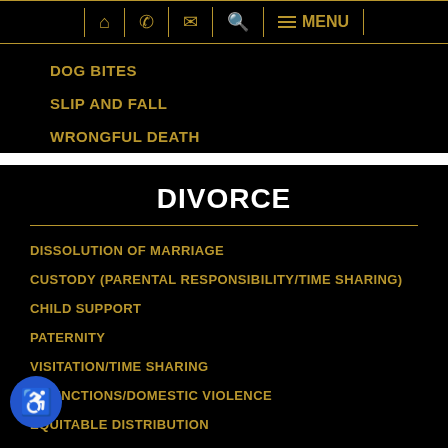Navigation bar with home, phone, email, search, and menu icons
DOG BITES
SLIP AND FALL
WRONGFUL DEATH
DIVORCE
DISSOLUTION OF MARRIAGE
CUSTODY (PARENTAL RESPONSIBILITY/TIME SHARING)
CHILD SUPPORT
PATERNITY
VISITATION/TIME SHARING
INJUNCTIONS/DOMESTIC VIOLENCE
EQUITABLE DISTRIBUTION